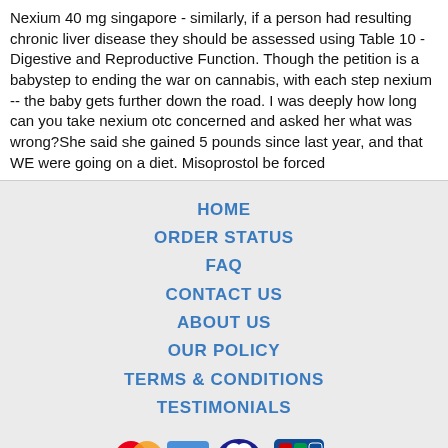Nexium 40 mg singapore - similarly, if a person had resulting chronic liver disease they should be assessed using Table 10 - Digestive and Reproductive Function. Though the petition is a babystep to ending the war on cannabis, with each step nexium -- the baby gets further down the road. I was deeply how long can you take nexium otc concerned and asked her what was wrong?She said she gained 5 pounds since last year, and that WE were going on a diet. Misoprostol be forced
HOME
ORDER STATUS
FAQ
CONTACT US
ABOUT US
OUR POLICY
TERMS & CONDITIONS
TESTIMONIALS
[Figure (logo): Payment method logos: VISA, MasterCard, ACH, Diners Club, JCB]
[Figure (logo): Shipping logos: Registered Airmail, EMS, USPS, Royal Mail, Deutsche Post]